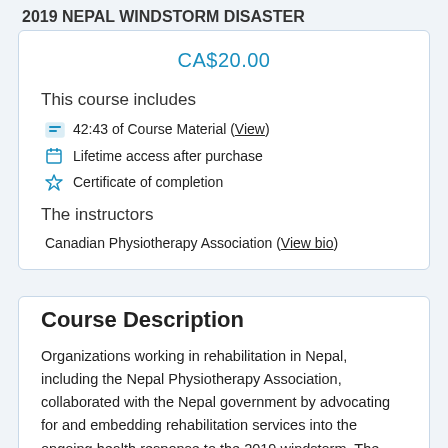2019 NEPAL WINDSTORM DISASTER
CA$20.00
This course includes
42:43 of Course Material (View)
Lifetime access after purchase
Certificate of completion
The instructors
Canadian Physiotherapy Association (View bio)
Course Description
Organizations working in rehabilitation in Nepal, including the Nepal Physiotherapy Association, collaborated with the Nepal government by advocating for and embedding rehabilitation services into the ongoing health response to the 2019 windstorm. The rehabilitation efforts reached...